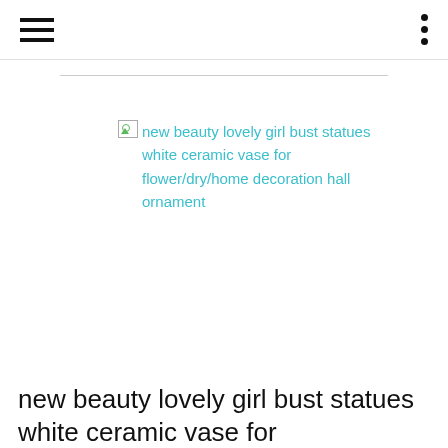[Figure (other): Broken image icon placeholder for product image, with linked alt text reading: new beauty lovely girl bust statues white ceramic vase for flower/dry/home decoration hall ornament]
new beauty lovely girl bust statues white ceramic vase for